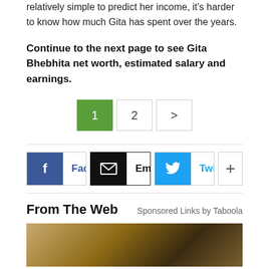relatively simple to predict her income, it's harder to know how much Gita has spent over the years.
Continue to the next page to see Gita Bhebhita net worth, estimated salary and earnings.
[Figure (other): Pagination buttons: active page 1 (green), page 2, next arrow]
[Figure (other): Social share buttons: Facebook, Email, Twitter, More (+)]
From The Web
Sponsored Links by Taboola
[Figure (photo): Thumbnail image showing a sandy/earthy scene with a dark object]